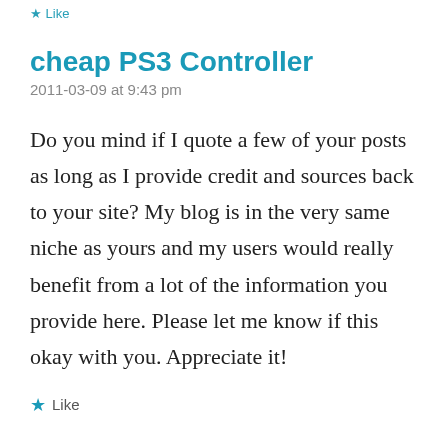Like
cheap PS3 Controller
2011-03-09 at 9:43 pm
Do you mind if I quote a few of your posts as long as I provide credit and sources back to your site? My blog is in the very same niche as yours and my users would really benefit from a lot of the information you provide here. Please let me know if this okay with you. Appreciate it!
Like
bird houses for sale